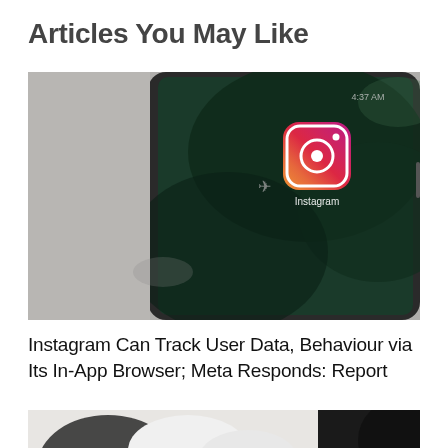Articles You May Like
[Figure (photo): Close-up photo of an iPhone showing the Instagram app icon on a dark green screen, resting on a grey surface.]
Instagram Can Track User Data, Behaviour via Its In-App Browser; Meta Responds: Report
[Figure (photo): Partial bottom photo, partially visible, appears to show a person or object — cropped off at the bottom of the page.]